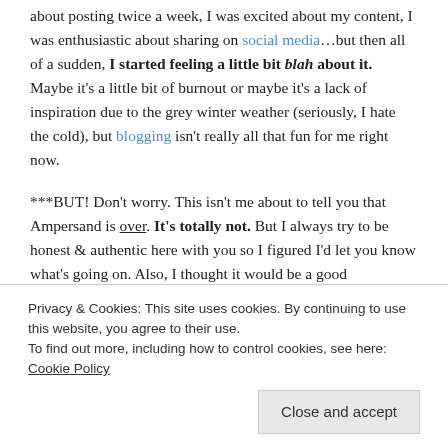about posting twice a week, I was excited about my content, I was enthusiastic about sharing on social media…but then all of a sudden, I started feeling a little bit blah about it. Maybe it's a little bit of burnout or maybe it's a lack of inspiration due to the grey winter weather (seriously, I hate the cold), but blogging isn't really all that fun for me right now.
***BUT! Don't worry. This isn't me about to tell you that Ampersand is over. It's totally not. But I always try to be honest & authentic here with you so I figured I'd let you know what's going on. Also, I thought it would be a good opportunity to shed
Privacy & Cookies: This site uses cookies. By continuing to use this website, you agree to their use.
To find out more, including how to control cookies, see here: Cookie Policy